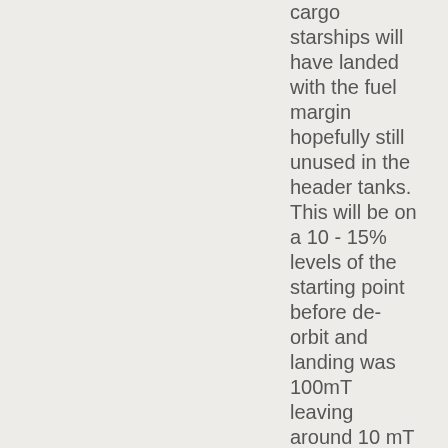cargo starships will have landed with the fuel margin hopefully still unused in the header tanks. This will be on a 10 - 15% levels of the starting point before de-orbit and landing was 100mT leaving around 10 mT to 15 mT in each ship that we can transfer once we have crews on the